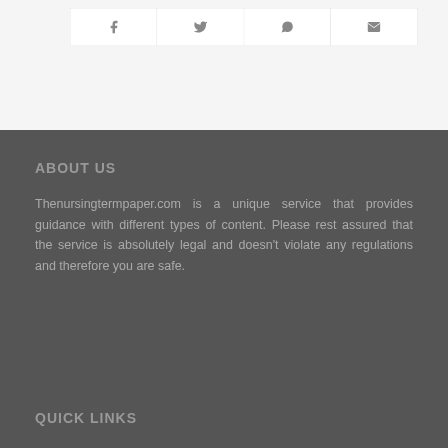[Figure (other): Social share buttons row with icons for Facebook, Twitter, WhatsApp, and Email]
ABOUT US
Thenursingtermpaper.com is a unique service that provides guidance with different types of content. Please rest assured that the service is absolutely legal and doesn't violate any regulations and therefore you are safe.
QUICK LINKS